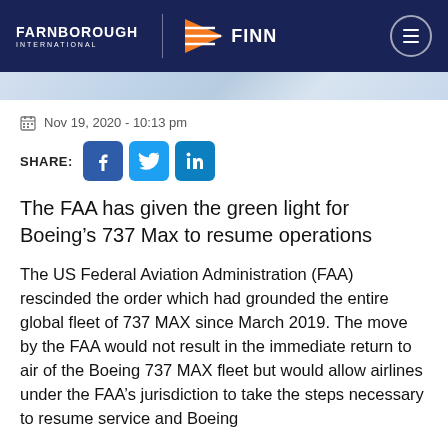[Figure (logo): Farnborough International and FINN logos on dark navy header bar with hamburger menu button]
[Figure (photo): Partial colorful image strip below the header]
Nov 19, 2020 - 10:13 pm
SHARE: [Facebook] [Twitter] [LinkedIn]
The FAA has given the green light for Boeing’s 737 Max to resume operations
The US Federal Aviation Administration (FAA) rescinded the order which had grounded the entire global fleet of 737 MAX since March 2019. The move by the FAA would not result in the immediate return to air of the Boeing 737 MAX fleet but would allow airlines under the FAA’s jurisdiction to take the steps necessary to resume service and Boeing to begin their deliveries.